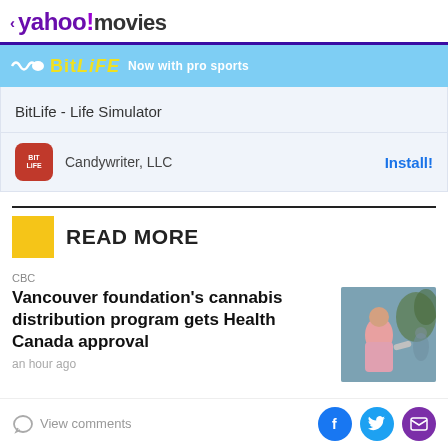< yahoo!movies
[Figure (screenshot): BitLife - Life Simulator app advertisement banner showing 'BitLiFE Now with pro sports' with install button by Candywriter, LLC]
READ MORE
CBC
Vancouver foundation's cannabis distribution program gets Health Canada approval
an hour ago
[Figure (photo): Photo of a woman in a pink shirt being interviewed outdoors]
View comments